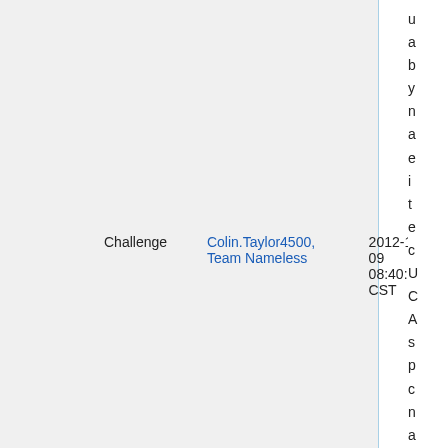| Challenge | Colin.Taylor4500, Team Nameless | 2012-11-09 08:40:35 CST |  |
u a b y n a e i t e c U C A s p c n a